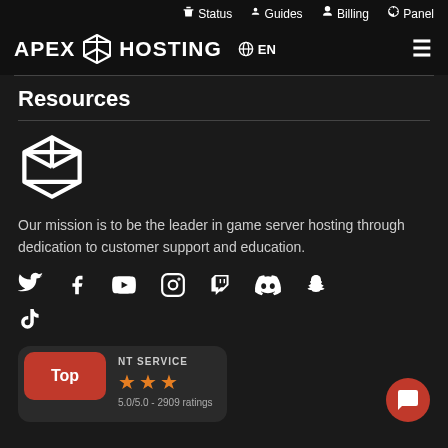Status | Guides | Billing | Panel
[Figure (logo): Apex Hosting logo with 3D cube icon and globe EN language selector]
Resources
[Figure (logo): Large 3D cube/box icon (white outline)]
Our mission is to be the leader in game server hosting through dedication to customer support and education.
[Figure (infographic): Social media icons row: Twitter, Facebook, YouTube, Instagram, Twitch, Discord, Snapchat, TikTok]
[Figure (infographic): Rating badge: Top badge (red), NT SERVICE label, 3 orange stars, 5.0/5.0 - 2909 ratings. Chat button bottom right.]